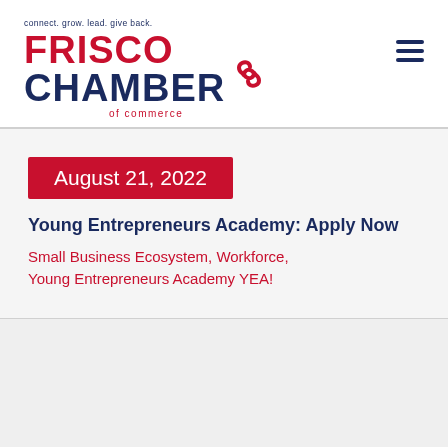[Figure (logo): Frisco Chamber of Commerce logo with tagline 'connect. grow. lead. give back.' and chain-link icon]
August 21, 2022
Young Entrepreneurs Academy: Apply Now
Small Business Ecosystem, Workforce, Young Entrepreneurs Academy YEA!